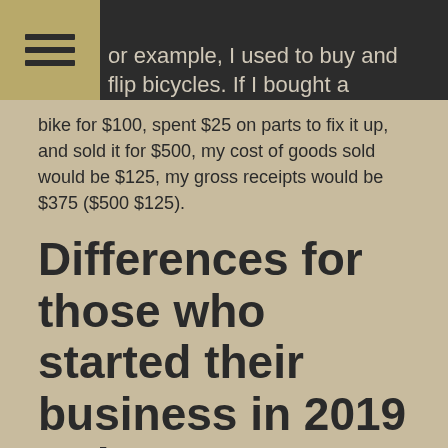or example, I used to buy and flip bicycles. If I bought a
bike for $100, spent $25 on parts to fix it up, and sold it for $500, my cost of goods sold would be $125, my gross receipts would be $375 ($500 $125).
Differences for those who started their business in 2019 or later.
It's easy enough to compare one quarter of 2020 to the same quarter in 2019 if you were in business all four quarters of 2019. But what if you weren't?
Any business that started before to the same quarter of 2019. In other words, if you started in , you can compare 4th quarter to 4th quarter, 3rd to 3rd, and 2nd to 2nd to